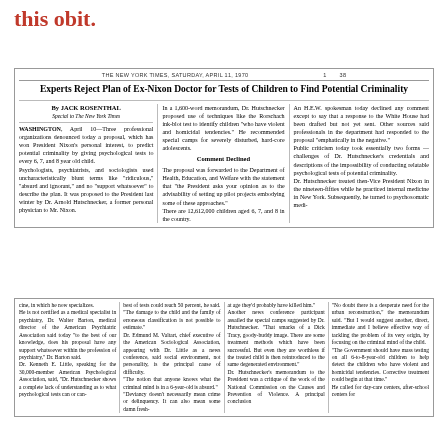this obit.
THE NEW YORK TIMES, SATURDAY, APRIL 11, 1970   1   38
Experts Reject Plan of Ex-Nixon Doctor for Tests of Children to Find Potential Criminality
By JACK ROSENTHAL
Special to The New York Times
WASHINGTON, April 10—Three professional organizations denounced today a proposal, which has won President Nixon's personal interest, to predict potential criminality by giving psychological tests to every 6, 7, and 8 year old child. Psychologists, psychiatrists, and sociologists used uncharacteristically blunt terms like "ridiculous," "absurd and ignorant," and no "support whatsoever" to describe the plan. It was proposed to the President last winter by Dr. Arnold Hutschnecker, a former personal physician to Mr. Nixon.
In a 1,600-word memorandum, Dr. Hutschnecker proposed use of techniques like the Rorschach ink-blot test to identify children "who have violent and homicidal tendencies." He recommended special camps for severely disturbed, hard-core adolescents.
Comment Declined
The proposal was forwarded to the Department of Health, Education, and Welfare with the statement that "the President asks your opinion as to the advisability of setting up pilot projects embodying some of these approaches."
There are 12,612,000 children aged 6, 7, and 8 in the country.
An H.E.W. spokesman today declined any comment except to say that a response to the White House had been drafted but not yet sent. Other sources said professionals in the department had responded to the proposal "emphatically in the negative."
Public criticism today took essentially two forms — challenges of Dr. Hutschnecker's credentials and descriptions of the impossibility of conducting relatable psychological tests of potential criminality.
Dr. Hutschnecker treated then-Vice President Nixon in the nineteen-fifties while he practiced internal medicine in New York. Subsequently, he turned to psychosomatic medi-
cine, in which he now specializes.
He is not certified as a medical specialist in psychiatry, Dr. Walter Barton, medical director of the American Psychiatric Association said today "to the best of our knowledge, does his proposal have any support whatsoever within the profession of psychiatry," Dr. Barton said.
Dr. Kenneth E. Little, speaking for the 30,000-member American Psychological Association, said, "Dr. Hutschnecker shows a complete lack of understanding as to what psychological tests can or can-
best of tests could reach 50 percent, he said. "The damage to the child and the family of erroneous classification is not possible to estimate."
Dr. Edmund M. Valtart, chief executive of the American Sociological Association, appearing with Dr. Little as a news conference, said social environment, not personality, is the principal cause of difficulty.
"The notion that anyone knows what the criminal mind is in a 6-year-old is absurd."
"Deviancy doesn't necessarily mean crime or delinquency. It can also mean some damn fresh-
at age they'd probably have killed him."
Another news conference participant assailed the special camps suggested by Dr. Hutschnecker. "That smacks of a Dick Tracy, goody-buddy image. There are some treatment methods which have been successful. But even they are worthless if the treated child is then reintroduced to the same degenerated environment."
Dr. Hutschnecker's memorandum to the President was a critique of the work of the National Commission on the Causes and Prevention of Violence. A principal conclusion
"No doubt there is a desperate need for the urban reconstruction," the memorandum said. "But I would suggest another, direct, immediate and I believe effective way of tackling the problem of its very origin, by focusing on the criminal mind of the child.
"The Government should have mass testing on all 6-to-8-year-old children to help detect the children who have violent and homicidal tendencies. Corrective treatment could begin at that time."
He called for day-care centers, after-school centers for